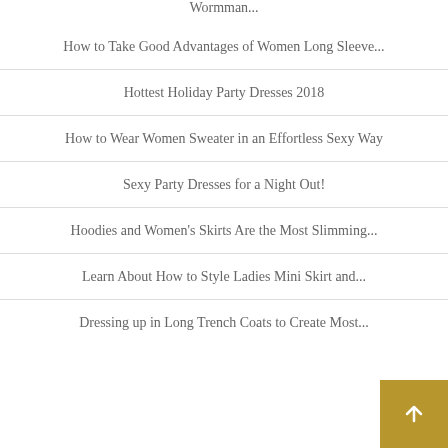Wormman...
How to Take Good Advantages of Women Long Sleeve...
Hottest Holiday Party Dresses 2018
How to Wear Women Sweater in an Effortless Sexy Way
Sexy Party Dresses for a Night Out!
Hoodies and Women's Skirts Are the Most Slimming...
Learn About How to Style Ladies Mini Skirt and...
Dressing up in Long Trench Coats to Create Most...